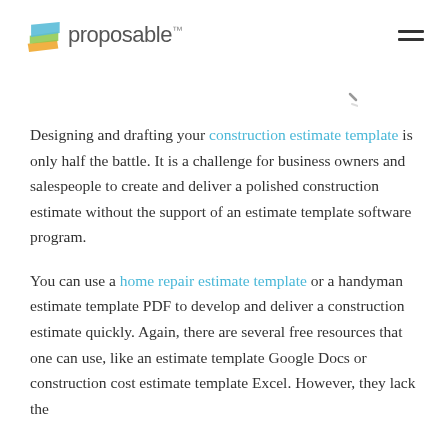proposable™
Designing and drafting your construction estimate template is only half the battle. It is a challenge for business owners and salespeople to create and deliver a polished construction estimate without the support of an estimate template software program.
You can use a home repair estimate template or a handyman estimate template PDF to develop and deliver a construction estimate quickly. Again, there are several free resources that one can use, like an estimate template Google Docs or construction cost estimate template Excel. However, they lack the